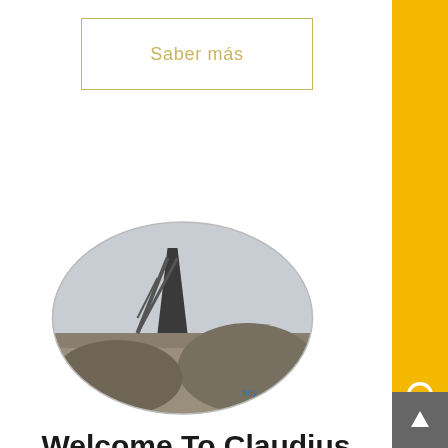Saber más
[Figure (photo): Oval-shaped photo of a mining or quarry site showing a conveyor structure/tower with gravel/aggregate materials on the ground, taken from ground level with sky in background.]
Welcome To Claudius Peters | Claudius Peters
For more than 40 years, Claudius Peters has supplied inject systems for metallurgical applications Claudius Peters inject